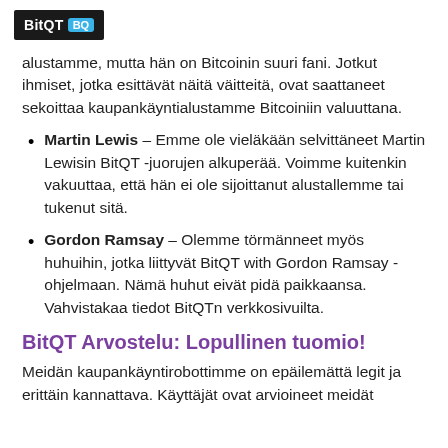BitQT BQ
alustamme, mutta hän on Bitcoinin suuri fani. Jotkut ihmiset, jotka esittävät näitä väitteitä, ovat saattaneet sekoittaa kaupankäyntialustamme Bitcoiniin valuuttana.
Martin Lewis – Emme ole vieläkään selvittäneet Martin Lewisin BitQT -juorujen alkuperää. Voimme kuitenkin vakuuttaa, että hän ei ole sijoittanut alustallemme tai tukenut sitä.
Gordon Ramsay – Olemme törmänneet myös huhuihin, jotka liittyvät BitQT with Gordon Ramsay -ohjelmaan. Nämä huhut eivät pidä paikkaansa. Vahvistakaa tiedot BitQTn verkkosivuilta.
BitQT Arvostelu: Lopullinen tuomio!
Meidän kaupankäyntirobottimme on epäilemättä legit ja erittäin kannattava. Käyttäjät ovat arvioineet meidät